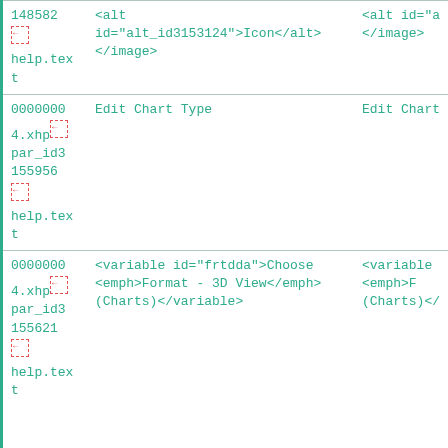| ID | Content | Additional |
| --- | --- | --- |
| 148582
[icon]
help.tex
t | <alt id="alt_id3153124">Icon</alt>
</antml:image> | <alt id="a"
</antml:image> |
| 00000000
4.xhp
par_id3
155956
[icon]
help.tex
t | Edit Chart Type | Edit Chart |
| 00000000
4.xhp
par_id3
155621
[icon]
help.tex
t | <variable id="frtdda">Choose
<emph>Format - 3D View</emph>
(Charts)</variable> | <variable
<emph>F
(Charts)</ |